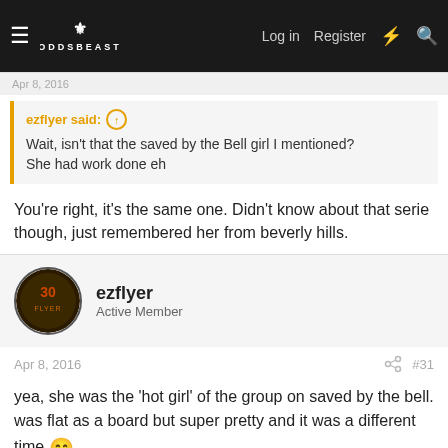OddsBeast — Log in  Register
ezflyer said: ↑
Wait, isn't that the saved by the Bell girl I mentioned?
She had work done eh
You're right, it's the same one. Didn't know about that serie though, just remembered her from beverly hills.
ezflyer
Active Member
Apr 8, 2016  #31
yea, she was the 'hot girl' of the group on saved by the bell. was flat as a board but super pretty and it was a different time 😁